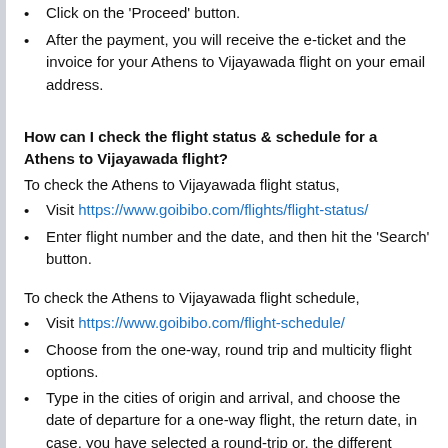Click on the 'Proceed' button.
After the payment, you will receive the e-ticket and the invoice for your Athens to Vijayawada flight on your email address.
How can I check the flight status & schedule for a Athens to Vijayawada flight?
To check the Athens to Vijayawada flight status,
Visit https://www.goibibo.com/flights/flight-status/
Enter flight number and the date, and then hit the 'Search' button.
To check the Athens to Vijayawada flight schedule,
Visit https://www.goibibo.com/flight-schedule/
Choose from the one-way, round trip and multicity flight options.
Type in the cities of origin and arrival, and choose the date of departure for a one-way flight, the return date, in case, you have selected a round-trip or, the different dates of departures for a multicity booking.
After clicking on the 'Get Set Go' option, you will get the real-time flight schedule.